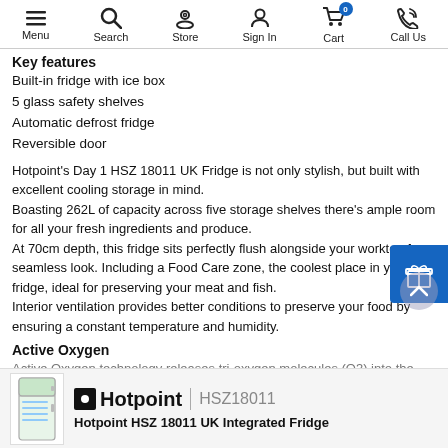Menu | Search | Store | Sign In | Cart (0) | Call Us
Key features
Built-in fridge with ice box
5 glass safety shelves
Automatic defrost fridge
Reversible door
Hotpoint's Day 1 HSZ 18011 UK Fridge is not only stylish, but built with excellent cooling storage in mind.
Boasting 262L of capacity across five storage shelves there's ample room for all your fresh ingredients and produce.
At 70cm depth, this fridge sits perfectly flush alongside your worktop for seamless look. Including a Food Care zone, the coolest place in your fridge, ideal for preserving your meat and fish.
Interior ventilation provides better conditions to preserve your food by ensuring a constant temperature and humidity.
Active Oxygen
Active Oxygen technology releases tri-oxygen molecules (O3) into the fridge
[Figure (screenshot): Bottom product bar showing a fridge thumbnail image, Hotpoint logo, model number HSZ18011, and product name 'Hotpoint HSZ 18011 UK Integrated Fridge']